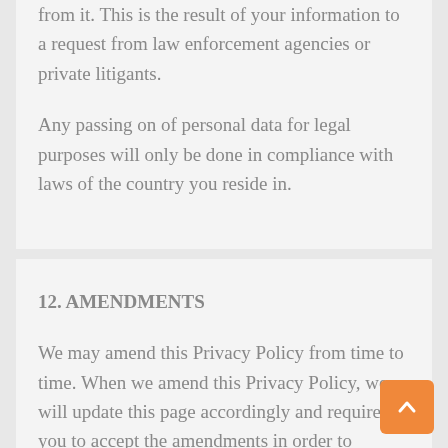from it. This is the result of your information to a request from law enforcement agencies or private litigants.
Any passing on of personal data for legal purposes will only be done in compliance with laws of the country you reside in.
12. AMENDMENTS
We may amend this Privacy Policy from time to time. When we amend this Privacy Policy, we will update this page accordingly and require you to accept the amendments in order to